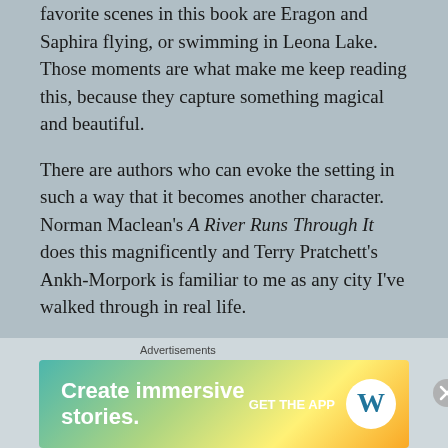favorite scenes in this book are Eragon and Saphira flying, or swimming in Leona Lake. Those moments are what make me keep reading this, because they capture something magical and beautiful.
There are authors who can evoke the setting in such a way that it becomes another character. Norman Maclean's A River Runs Through It does this magnificently and Terry Pratchett's Ankh-Morpork is familiar to me as any city I've walked through in real life.
I don't think Paolini is quite at that level yet, but I'm honestly envious of his talent for description. It's one thing that I'm always struggling to improve in my
Advertisements
[Figure (other): WordPress advertisement banner reading 'Create immersive stories. GET THE APP' with WordPress logo]